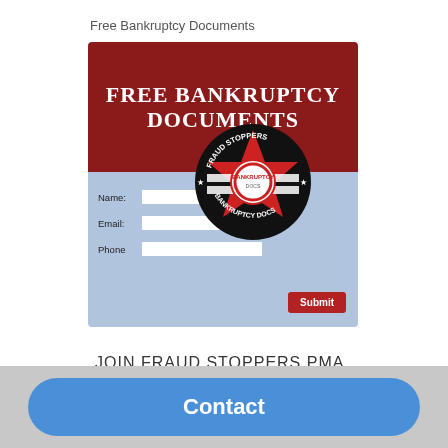Free Bankruptcy Documents
[Figure (screenshot): A promotional banner for 'Free Bankruptcy Documents' with a dark red top section showing bold white text 'FREE BANKRUPTCY DOCUMENTS', a light blue bottom section with form fields for Name, Email, Phone and a red Submit button, and a circular badge logo for Fraud Stoppers Bankruptcy Docs overlapping the two sections.]
JOIN FRAUD STOPPERS PMA
Contact